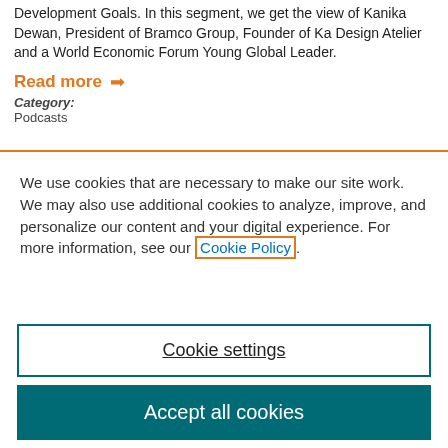Development Goals. In this segment, we get the view of Kanika Dewan, President of Bramco Group, Founder of Ka Design Atelier and a World Economic Forum Young Global Leader.
Read more →
Category:
Podcasts
We use cookies that are necessary to make our site work. We may also use additional cookies to analyze, improve, and personalize our content and your digital experience. For more information, see our Cookie Policy.
Cookie settings
Accept all cookies